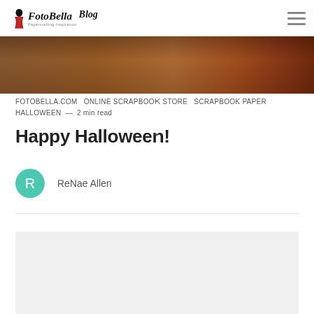FotoBella Blog — Papercrafting Inspiration
[Figure (photo): Hero image showing a wooden surface with autumn/Halloween decorations in warm brown and orange tones]
FOTOBELLA.COM   ONLINE SCRAPBOOK STORE   SCRAPBOOK PAPER   HALLOWEEN  —  2 min read
Happy Halloween!
R  ReNae Allen
[Figure (photo): Light gray placeholder image area for article content]